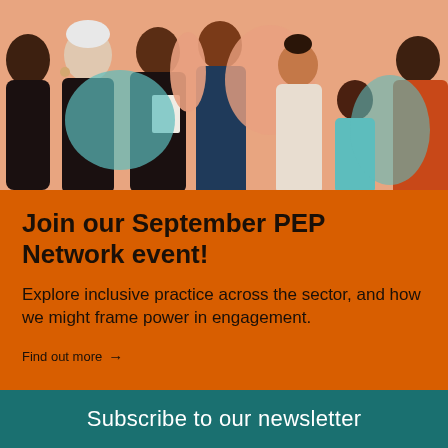[Figure (illustration): Illustrated diverse group of people with various skin tones and hairstyles on a coral/peach background]
Join our September PEP Network event!
Explore inclusive practice across the sector, and how we might frame power in engagement.
Find out more →
Subscribe to our newsletter